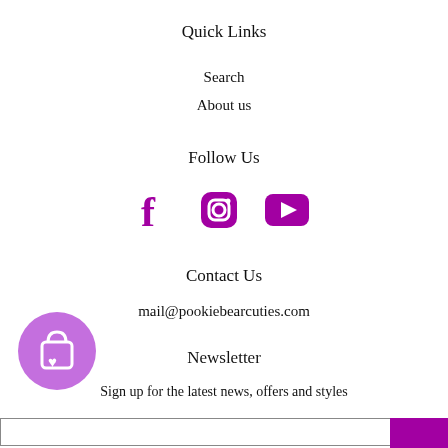Quick Links
Search
About us
Follow Us
[Figure (infographic): Three social media icons in purple: Facebook (f), Instagram (camera), YouTube (play button)]
Contact Us
mail@pookiebearcuties.com
[Figure (logo): Purple circle with a shopping bag and heart icon]
Newsletter
Sign up for the latest news, offers and styles